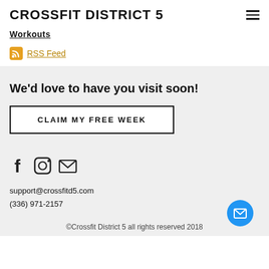CROSSFIT DISTRICT 5
Workouts
RSS Feed
We'd love to have you visit soon!
CLAIM MY FREE WEEK
[Figure (infographic): Social media icons: Facebook, Instagram, Email]
support@crossfitd5.com
(336) 971-2157
©Crossfit District 5 all rights reserved 2018